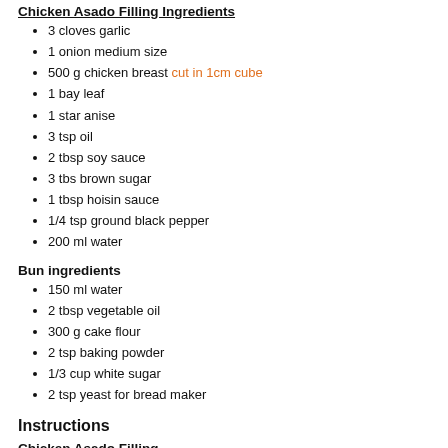Chicken Asado Filling Ingredients
3 cloves garlic
1 onion medium size
500 g chicken breast cut in 1cm cube
1 bay leaf
1 star anise
3 tsp oil
2 tbsp soy sauce
3 tbs brown sugar
1 tbsp hoisin sauce
1/4 tsp ground black pepper
200 ml water
Bun ingredients
150 ml water
2 tbsp vegetable oil
300 g cake flour
2 tsp baking powder
1/3 cup white sugar
2 tsp yeast for bread maker
Instructions
Chicken Asado Filling
1. Saute garlic and onion.